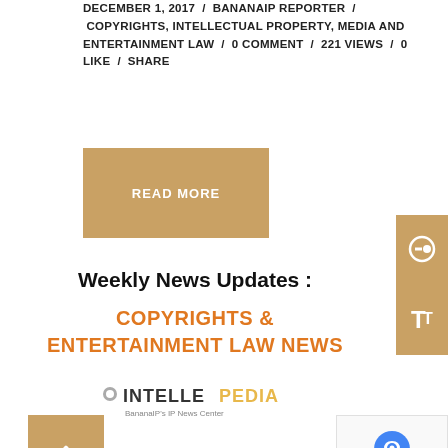DECEMBER 1, 2017 / BANANAIP REPORTER / COPYRIGHTS, INTELLECTUAL PROPERTY, MEDIA AND ENTERTAINMENT LAW / 0 COMMENT / 221 VIEWS / 0 LIKE / SHARE
READ MORE
Weekly News Updates :
COPYRIGHTS & ENTERTAINMENT LAW NEWS
[Figure (logo): Intellepedia logo with text 'INTELLEPEDIA' and subtitle 'BananaIP's IP News Center']